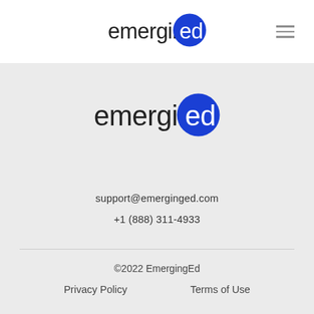[Figure (logo): EmergingEd logo in header: the word 'emerging' in dark gray and 'ed' in white inside a blue circle]
[Figure (logo): EmergingEd logo in footer area: the word 'emerging' in dark gray and 'ed' in white inside a blue circle]
support@emerginged.com
+1 (888) 311-4933
©2022 EmergingEd
Privacy Policy
Terms of Use